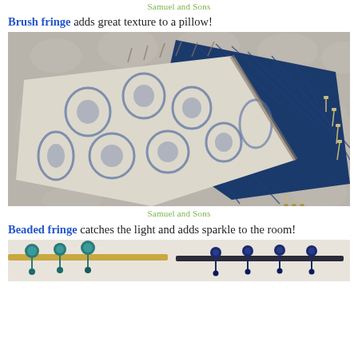Samuel and Sons
Brush fringe adds great texture to a pillow!
[Figure (photo): Two decorative pillows on a grey tufted sofa. Left pillow has blue and white damask/scroll pattern fabric with brush fringe trim. Right pillow is navy blue velvet with tassel fringe trim.]
Samuel and Sons
Beaded fringe catches the light and adds sparkle to the room!
[Figure (photo): Partial view of beaded fringe trim samples in teal/blue and navy colors on a light background.]